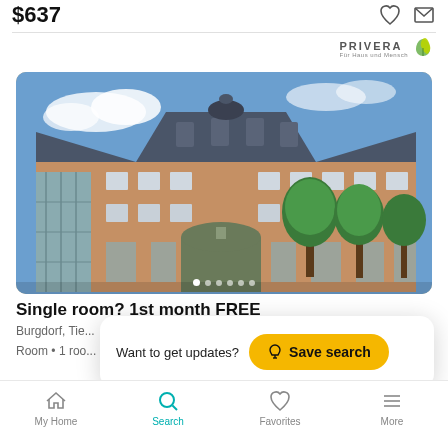$637
[Figure (photo): Exterior photo of a large multi-story brick building with a dark slate mansard roof, arched entrance, trees in front, and a blue sky with light clouds in the background.]
Single room? 1st month FREE
Burgdorf, Tie...
Room • 1 roo...
Want to get updates?  Save search
My Home  Search  Favorites  More